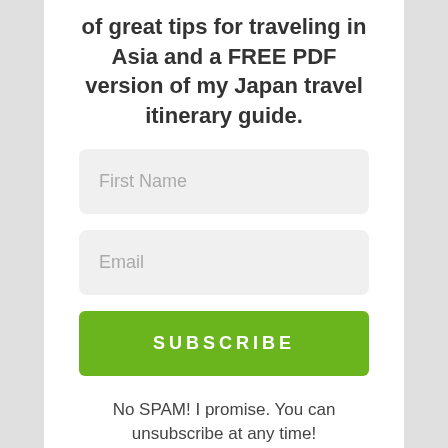of great tips for traveling in Asia and a FREE PDF version of my Japan travel itinerary guide.
[Figure (screenshot): First Name input field (light gray background, rounded corners)]
[Figure (screenshot): Email input field (light gray background, rounded corners)]
[Figure (screenshot): Green SUBSCRIBE button with white bold uppercase text]
No SPAM! I promise. You can unsubscribe at any time!